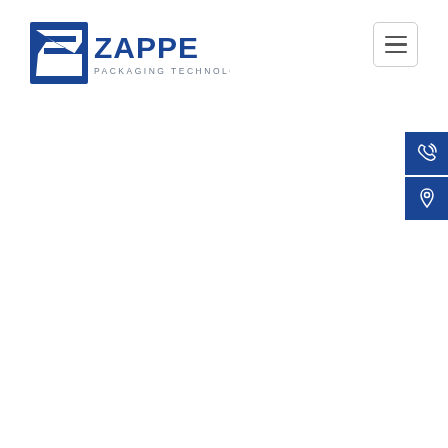[Figure (logo): Zappe Packaging Technology logo — blue stylized Z arrow icon with 'ZAPPE' in large dark blue bold text and 'PACKAGING TECHNOLOGY' in smaller grey tracking below]
[Figure (other): Hamburger menu button — three horizontal lines in a rounded rectangle border]
[Figure (other): Blue contact sidebar with two icons: a phone/call icon and a location pin icon, both white on dark blue background]